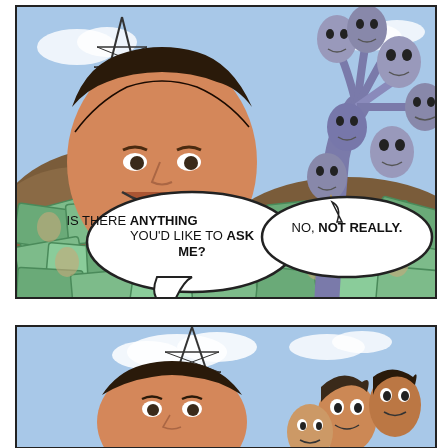[Figure (illustration): Comic strip panel 1: A man's large face smiling surrounded by piles of money/banknotes, with an oil derrick tower behind him and a cluster of floating human faces/heads in purple-grey tones on the right side. Two speech bubbles: left bubble says 'IS THERE ANYTHING YOU'D LIKE TO ASK ME?' and right bubble says 'NO, NOT REALLY.']
[Figure (illustration): Comic strip panel 2 (partial, bottom): Shows an oil derrick tower on the left against a blue sky with clouds, and a cluster of human faces/heads on the right side, partially cut off.]